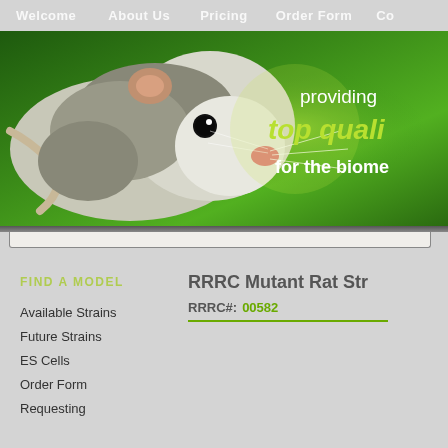Welcome   About Us   Pricing   Order Form   Co
[Figure (photo): Website banner showing a close-up photo of a rat on a green background with text: 'providing top quality for the biomed']
Find a Model
Available Strains
Future Strains
ES Cells
Order Form
Requesting
RRRC Mutant Rat Str
RRRC#: 00582